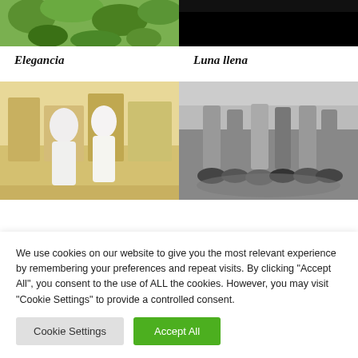[Figure (photo): Top-left partial photo showing green foliage/trees]
[Figure (photo): Top-right partial photo appearing mostly black/dark]
Elegancia
Luna llena
[Figure (photo): Two women in white dresses viewed from behind on a city street with ornate buildings]
[Figure (photo): Black and white photo of multiple pairs of feet and shoes arranged in a circle]
We use cookies on our website to give you the most relevant experience by remembering your preferences and repeat visits. By clicking “Accept All”, you consent to the use of ALL the cookies. However, you may visit “Cookie Settings” to provide a controlled consent.
Cookie Settings
Accept All